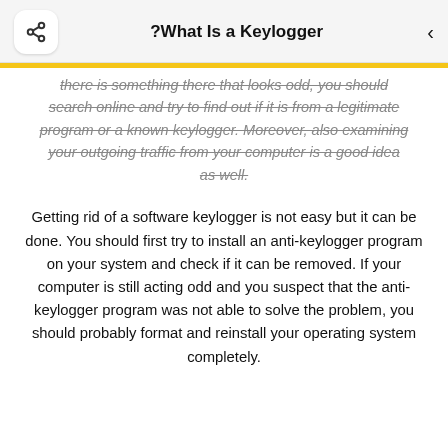What Is a Keylogger?
there is something there that looks odd, you should search online and try to find out if it is from a legitimate program or a known keylogger. Moreover, also examining your outgoing traffic from your computer is a good idea as well.
Getting rid of a software keylogger is not easy but it can be done. You should first try to install an anti-keylogger program on your system and check if it can be removed. If your computer is still acting odd and you suspect that the anti-keylogger program was not able to solve the problem, you should probably format and reinstall your operating system completely.